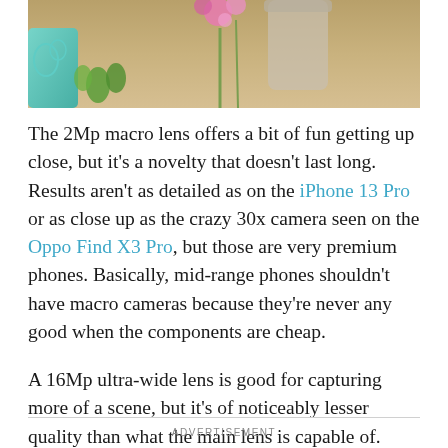[Figure (photo): Top portion of a photo showing a sandy surface with a teal/blue phone card on the left, some green leaves/succulent, a pink flower and a vase/cup in the background]
The 2Mp macro lens offers a bit of fun getting up close, but it's a novelty that doesn't last long. Results aren't as detailed as on the iPhone 13 Pro or as close up as the crazy 30x camera seen on the Oppo Find X3 Pro, but those are very premium phones. Basically, mid-range phones shouldn't have macro cameras because they're never any good when the components are cheap.
A 16Mp ultra-wide lens is good for capturing more of a scene, but it's of noticeably lesser quality than what the main lens is capable of.
ADVERTISEMENT